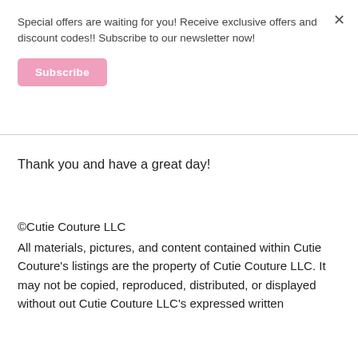Special offers are waiting for you! Receive exclusive offers and discount codes!! Subscribe to our newsletter now!
Subscribe
Thank you and have a great day!
©Cutie Couture LLC
All materials, pictures, and content contained within Cutie Couture's listings are the property of Cutie Couture LLC. It may not be copied, reproduced, distributed, or displayed without out Cutie Couture LLC's expressed written